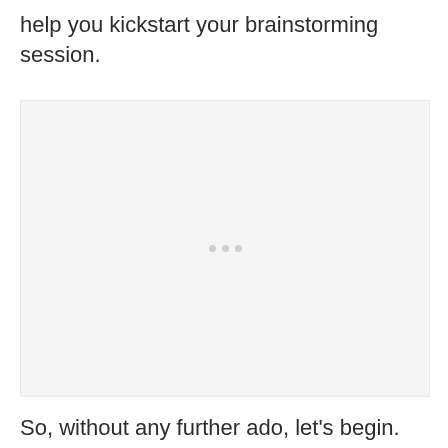help you kickstart your brainstorming session.
[Figure (other): A light gray placeholder box with three small gray dots centered, indicating a loading or embedded media element.]
So, without any further ado, let's begin.